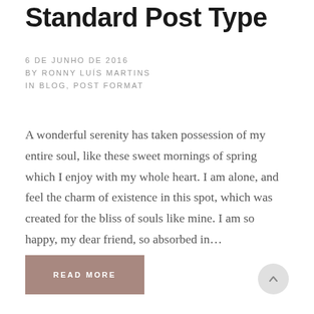Standard Post Type
6 DE JUNHO DE 2016
BY RONNY LUÍS MARTINS
IN BLOG, POST FORMAT
A wonderful serenity has taken possession of my entire soul, like these sweet mornings of spring which I enjoy with my whole heart. I am alone, and feel the charm of existence in this spot, which was created for the bliss of souls like mine. I am so happy, my dear friend, so absorbed in…
READ MORE